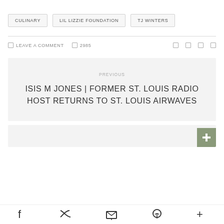CULINARY
LIL LIZZIE FOUNDATION
TJ WINTERS
LEAVE A COMMENT  2985
PREVIOUS
ISIS M JONES | FORMER ST. LOUIS RADIO HOST RETURNS TO ST. LOUIS AIRWAVES
Social share icons: Facebook, Twitter, Email, Pinterest, More